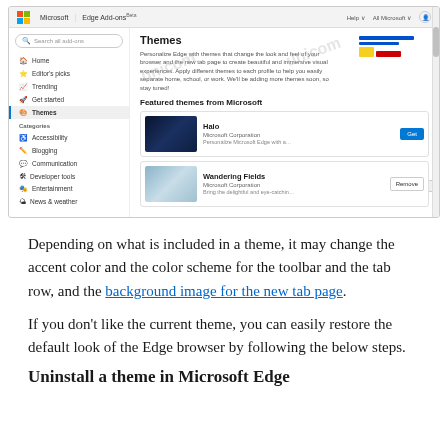[Figure (screenshot): Microsoft Edge Add-ons browser page showing the Themes section with sidebar navigation (Home, Editor's picks, Trending, Get started, Themes selected) and featured themes from Microsoft including Halo and Wandering Fields]
Depending on what is included in a theme, it may change the accent color and the color scheme for the toolbar and the tab row, and the background image for the new tab page.
If you don't like the current theme, you can easily restore the default look of the Edge browser by following the below steps.
Uninstall a theme in Microsoft Edge